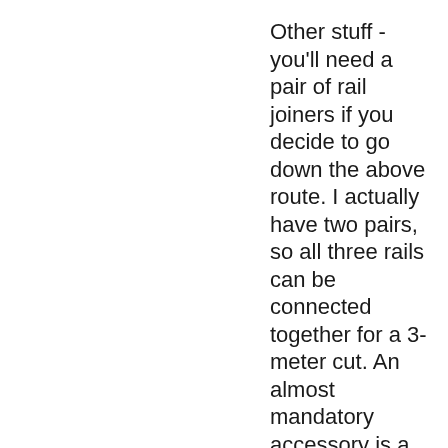Other stuff - you'll need a pair of rail joiners if you decide to go down the above route. I actually have two pairs,  so all three rails can be connected together for a 3-meter cut. An almost mandatory accessory is a TSO guide rail square - this device clamps to the rail and ensures square cuts whilst